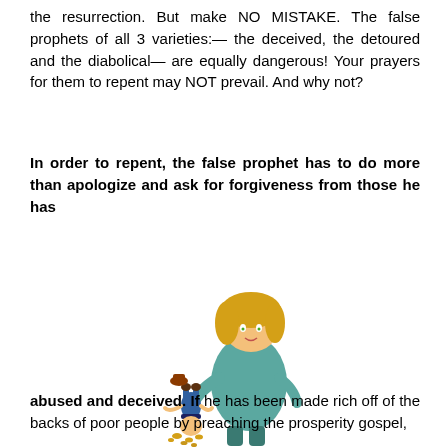the resurrection. But make NO MISTAKE. The false prophets of all 3 varieties:— the deceived, the detoured and the diabolical— are equally dangerous! Your prayers for them to repent may NOT prevail. And why not?
In order to repent, the false prophet has to do more than apologize and ask for forgiveness from those he has
[Figure (illustration): Cartoon illustration of a person with a woman's face (blonde hair) holding a smaller cartoon figure upside down, with coins falling out of the upside-down figure's pockets.]
abused and deceived. If he has been made rich off of the backs of poor people by preaching the prosperity gospel,